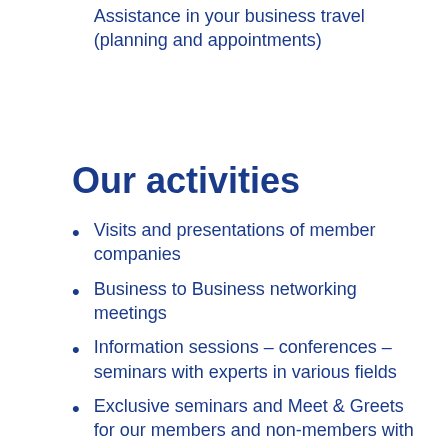Assistance in your business travel (planning and appointments)
Our activities
Visits and presentations of member companies
Business to Business networking meetings
Information sessions – conferences – seminars with experts in various fields
Exclusive seminars and Meet & Greets  for our members and non-members with actual themes Organizing Vietnamese language